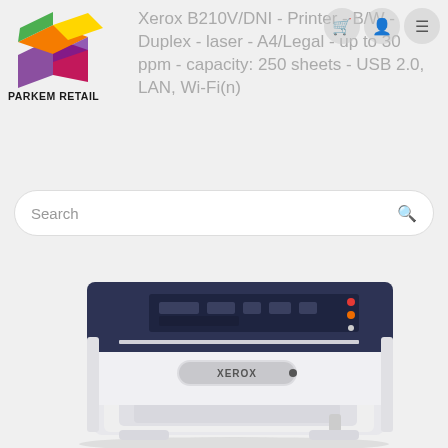Xerox B210V/DNI - Printer - B/W - Duplex - laser - A4/Legal - up to 30 ppm - capacity: 250 sheets - USB 2.0, LAN, Wi-Fi(n)
[Figure (logo): Parkem Retail logo - colorful 3D box shape with orange, yellow, green, purple facets, with text PARKEM RETAIL below]
[Figure (photo): Xerox B210V/DNI laser printer, white and dark navy blue body, front view showing paper tray and control panel with Xerox branding on front panel]